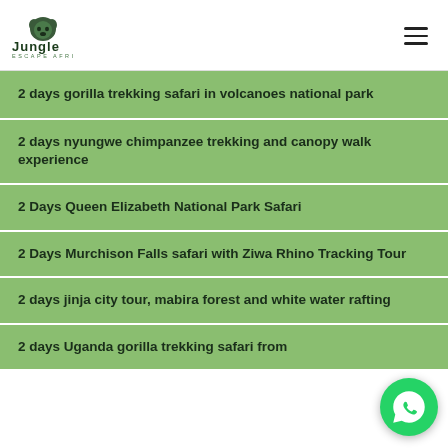Jungle Escape Africa
2 days gorilla trekking safari in volcanoes national park
2 days nyungwe chimpanzee trekking and canopy walk experience
2 Days Queen Elizabeth National Park Safari
2 Days Murchison Falls safari with Ziwa Rhino Tracking Tour
2 days jinja city tour, mabira forest and white water rafting
2 days Uganda gorilla trekking safari from